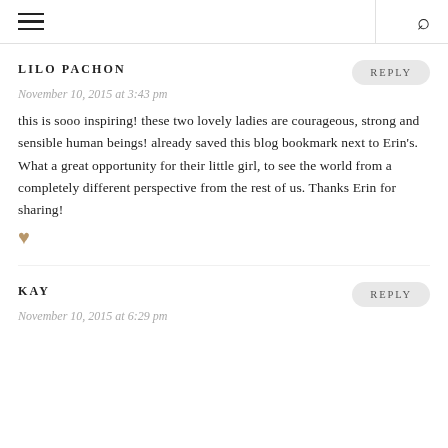☰ | 🔍
LILO PACHON
November 10, 2015 at 3:43 pm
this is sooo inspiring! these two lovely ladies are courageous, strong and sensible human beings! already saved this blog bookmark next to Erin's. What a great opportunity for their little girl, to see the world from a completely different perspective from the rest of us. Thanks Erin for sharing! ♥
KAY
November 10, 2015 at 6:29 pm